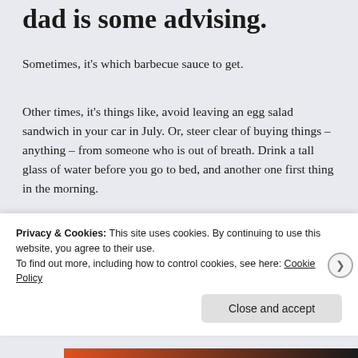dad is some advising.
Sometimes, it's which barbecue sauce to get.
Other times, it's things like, avoid leaving an egg salad sandwich in your car in July. Or, steer clear of buying things – anything – from someone who is out of breath. Drink a tall glass of water before you go to bed, and another one first thing in the morning.
[Figure (illustration): Advertisement banner with colorful gradient background (orange, salmon, pink) showing partial text 'WordPress in the back.']
Privacy & Cookies: This site uses cookies. By continuing to use this website, you agree to their use.
To find out more, including how to control cookies, see here: Cookie Policy
Close and accept